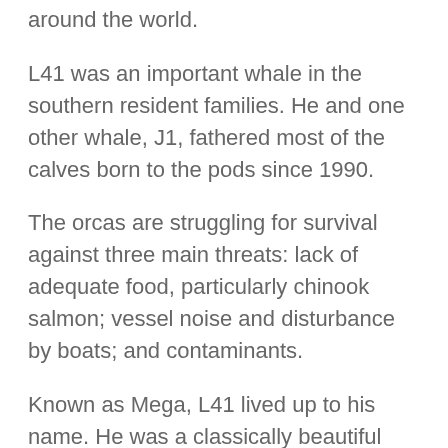around the world.
L41 was an important whale in the southern resident families. He and one other whale, J1, fathered most of the calves born to the pods since 1990.
The orcas are struggling for survival against three main threats: lack of adequate food, particularly chinook salmon; vessel noise and disturbance by boats; and contaminants.
Known as Mega, L41 lived up to his name. He was a classically beautiful orca bull, with a towering dorsal fin, rising straight with at top of from his back. Dis and